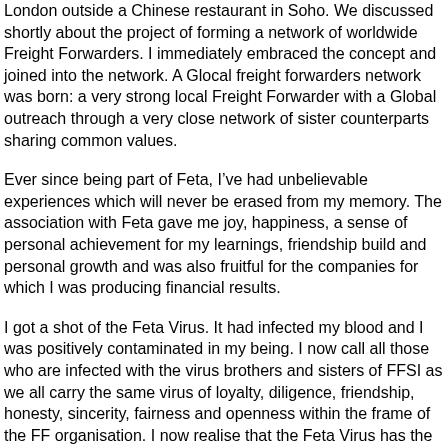London outside a Chinese restaurant in Soho. We discussed shortly about the project of forming a network of worldwide Freight Forwarders. I immediately embraced the concept and joined into the network. A Glocal freight forwarders network was born: a very strong local Freight Forwarder with a Global outreach through a very close network of sister counterparts sharing common values.
Ever since being part of Feta, I’ve had unbelievable experiences which will never be erased from my memory. The association with Feta gave me joy, happiness, a sense of personal achievement for my learnings, friendship build and personal growth and was also fruitful for the companies for which I was producing financial results.
I got a shot of the Feta Virus. It had infected my blood and I was positively contaminated in my being. I now call all those who are infected with the virus brothers and sisters of FFSI as we all carry the same virus of loyalty, diligence, friendship, honesty, sincerity, fairness and openness within the frame of the FF organisation. I now realise that the Feta Virus has the FFSI glue to bond the members.
From where I nest now, retired and worn out physically, I still cannot free myself from the Feta Virus.The glue is sticking. I often get to skype or chat with so many of you despite being out of business for a number of years and keep tracking your expansion and development.